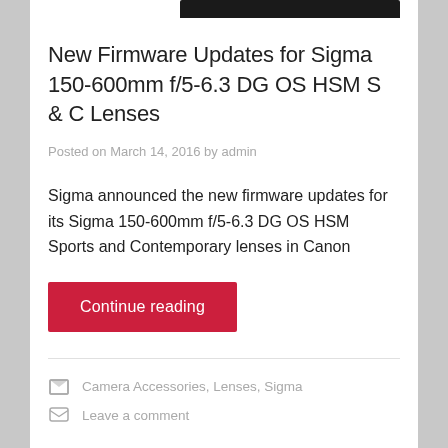[Figure (photo): Partial view of a dark/black camera lens or device at the top of the page]
New Firmware Updates for Sigma 150-600mm f/5-6.3 DG OS HSM S & C Lenses
Posted on March 14, 2016 by admin
Sigma announced the new firmware updates for its Sigma 150-600mm f/5-6.3 DG OS HSM Sports and Contemporary lenses in Canon
Continue reading
Camera Accessories, Lenses, Sigma
Leave a comment